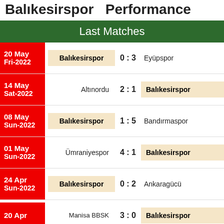Balıkesirspor Performance
Last Matches
| Date | Home | Score | Away |
| --- | --- | --- | --- |
| 20 May Fri-2022 | Balıkesirspor | 0 : 3 | Eyüpspor |
| 14 May Sat-2022 | Altınordu | 2 : 1 | Balıkesirspor |
| 08 May Sun-2022 | Balıkesirspor | 1 : 5 | Bandırmaspor |
| 01 May Sun-2022 | Ümraniyespor | 4 : 1 | Balıkesirspor |
| 24 Apr Sun-2022 | Balıkesirspor | 0 : 2 | Ankaragücü |
| 20 Apr | Manisa BBSK | 3 : 0 | Balıkesirspor |